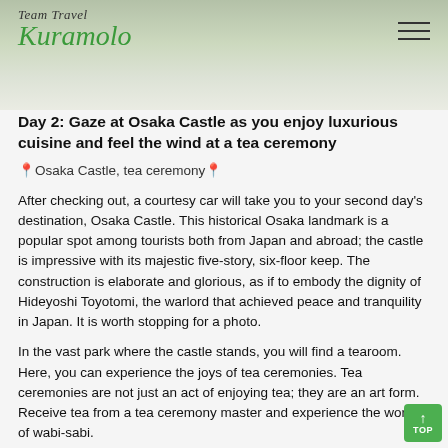Team Travel Kuramolo
Day 2: Gaze at Osaka Castle as you enjoy luxurious cuisine and feel the wind at a tea ceremony
📍Osaka Castle, tea ceremony📍
After checking out, a courtesy car will take you to your second day's destination, Osaka Castle. This historical Osaka landmark is a popular spot among tourists both from Japan and abroad; the castle is impressive with its majestic five-story, six-floor keep. The construction is elaborate and glorious, as if to embody the dignity of Hideyoshi Toyotomi, the warlord that achieved peace and tranquility in Japan. It is worth stopping for a photo.
In the vast park where the castle stands, you will find a tearoom. Here, you can experience the joys of tea ceremonies. Tea ceremonies are not just an act of enjoying tea; they are an art form.  Receive tea from a tea ceremony master and experience the world of wabi-sabi.